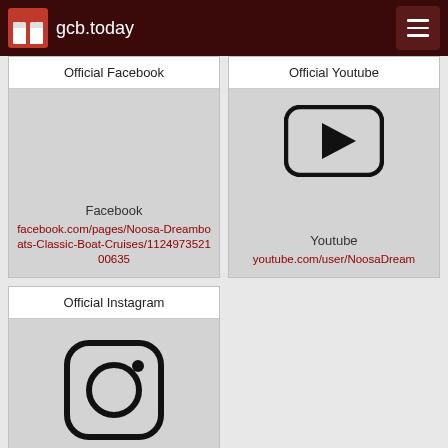gcb.today
Official Facebook
[Figure (logo): Facebook icon placeholder (grey box)]
Facebook
facebook.com/pages/Noosa-Dreamboats-Classic-Boat-Cruises/112497352100635
Official Youtube
[Figure (logo): Youtube play button icon on grey background]
Youtube
youtube.com/user/NoosaDream
Official Instagram
[Figure (logo): Instagram camera icon outline]
Instagram
instagram.com/noosadreambo